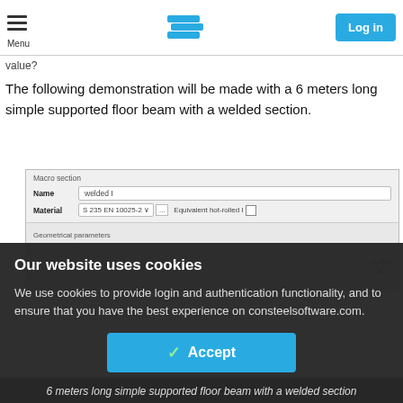Menu | [Logo] | Log in
...there is no analytical formula to determine in the node horizontal openings. Would the calculation of such a section be calculated and the determination of the critical value?
The following demonstration will be made with a 6 meters long simple supported floor beam with a welded section.
[Figure (screenshot): Software UI screenshot showing Macro section dialog with Name field 'welded I' and Material field 'S 235 EN 10025-2' with 'Equivalent hot-rolled I' checkbox, and Geometrical parameters section below]
Our website uses cookies
We use cookies to provide login and authentication functionality, and to ensure that you have the best experience on consteelsoftware.com.
Accept
6 meters long simple supported floor beam with a welded section